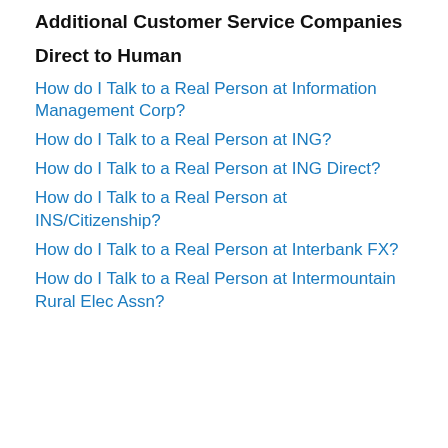Additional Customer Service Companies
Direct to Human
How do I Talk to a Real Person at Information Management Corp?
How do I Talk to a Real Person at ING?
How do I Talk to a Real Person at ING Direct?
How do I Talk to a Real Person at INS/Citizenship?
How do I Talk to a Real Person at Interbank FX?
How do I Talk to a Real Person at Intermountain Rural Elec Assn?